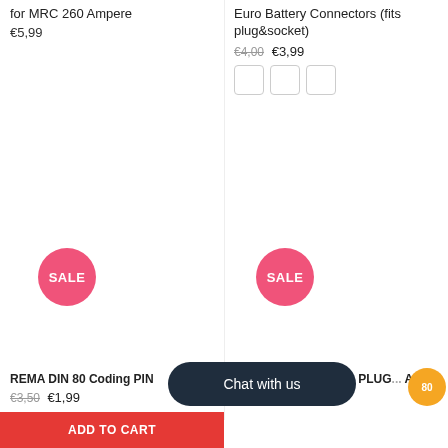for MRC 260 Ampere
€5,99
[Figure (other): Pink SALE badge circle]
Euro Battery Connectors (fits plug&socket)
€4,00  €3,99
[Figure (other): Three white color swatches]
[Figure (other): Pink SALE badge circle]
REMA DIN 80 Coding PIN
€3,50  €1,99
REMA BA... 180 RED, PLUG... Acid Resistant Housin...
[Figure (other): Chat with us dark pill button overlay]
[Figure (other): Orange circular chat avatar]
ADD TO CART